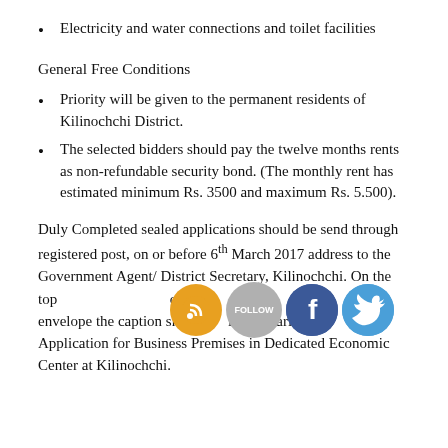Electricity and water connections and toilet facilities
General Free Conditions
Priority will be given to the permanent residents of Kilinochchi District.
The selected bidders should pay the twelve months rents as non-refundable security bond. (The monthly rent has estimated minimum Rs. 3500 and maximum Rs. 5.500).
Duly Completed sealed applications should be send through registered post, on or before 6th March 2017 address to the Government Agent/ District Secretary, Kilinochchi. On the top [social icons] of the envelope the caption should be clearly marked as Application for Business Premises in Dedicated Economic Center at Kilinochchi.